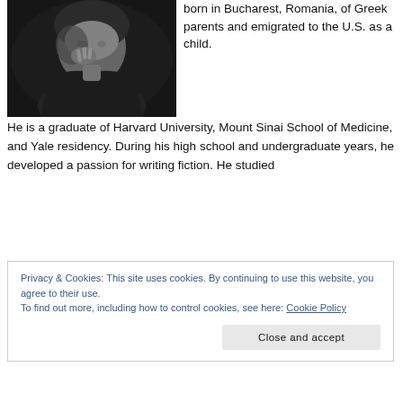[Figure (photo): Black and white portrait photo of a person with hand raised near face, looking thoughtful]
born in Bucharest, Romania, of Greek parents and emigrated to the U.S. as a child. He is a graduate of Harvard University, Mount Sinai School of Medicine, and Yale residency. During his high school and undergraduate years, he developed a passion for writing fiction. He studied
Privacy & Cookies: This site uses cookies. By continuing to use this website, you agree to their use.
To find out more, including how to control cookies, see here: Cookie Policy
Close and accept